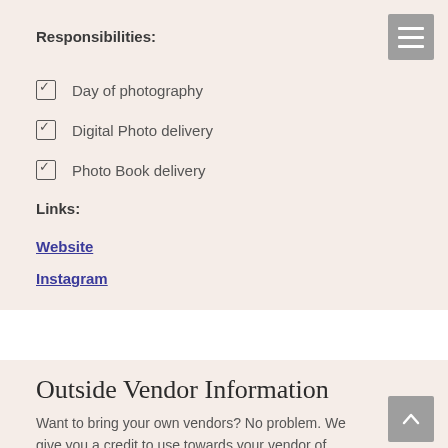Responsibilities:
Day of photography
Digital Photo delivery
Photo Book delivery
Links:
Website
Instagram
Outside Vendor Information
Want to bring your own vendors?  No problem.  We give you a credit to use towards your vendor of choice.  Be aware that the hotel charges fees for bringing outside vendors.